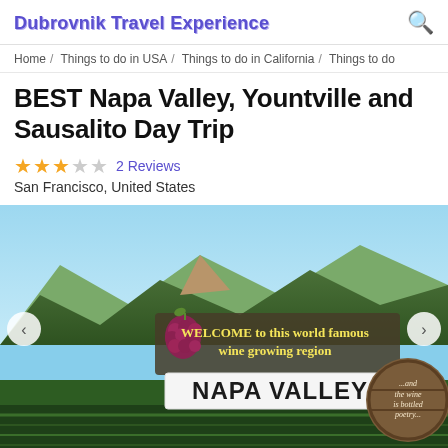Dubrovnik Travel Experience
Home / Things to do in USA / Things to do in California / Things to do
BEST Napa Valley, Yountville and Sausalito Day Trip
2 Reviews
San Francisco, United States
[Figure (photo): Photo of Napa Valley welcome sign with mountains in background and vineyard in foreground. Sign reads: WELCOME to this world famous wine growing region, NAPA VALLEY, and a barrel sign reading ...and the wine is bottled poetry...]